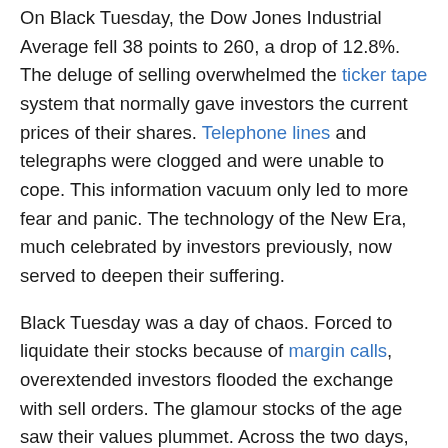On Black Tuesday, the Dow Jones Industrial Average fell 38 points to 260, a drop of 12.8%. The deluge of selling overwhelmed the ticker tape system that normally gave investors the current prices of their shares. Telephone lines and telegraphs were clogged and were unable to cope. This information vacuum only led to more fear and panic. The technology of the New Era, much celebrated by investors previously, now served to deepen their suffering.
Black Tuesday was a day of chaos. Forced to liquidate their stocks because of margin calls, overextended investors flooded the exchange with sell orders. The glamour stocks of the age saw their values plummet. Across the two days, the Dow Jones Industrial Average fell 23%.